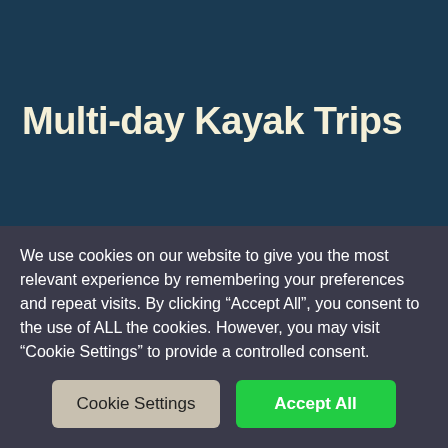Multi-day Kayak Trips
Nordic Paddling provides full-package solutions that cover all the needs and requirements for a safe and enjoyable multi-day kayaking trip in Norway. Our guides are all industry-professionals with some of the highest educations and certifications within outdoor
We use cookies on our website to give you the most relevant experience by remembering your preferences and repeat visits. By clicking “Accept All”, you consent to the use of ALL the cookies. However, you may visit “Cookie Settings” to provide a controlled consent.
Cookie Settings | Accept All